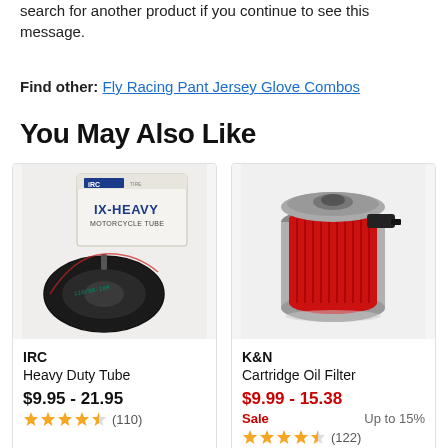search for another product if you continue to see this message.
Find other: Fly Racing Pant Jersey Glove Combos
You May Also Like
[Figure (photo): IRC IX-Heavy Motorcycle Tube product photo showing a box and rolled inner tube]
[Figure (photo): K&N Cartridge Oil Filter product photo showing a red cylindrical oil filter]
IRC
Heavy Duty Tube
$9.95 - 21.95
★★★★☆ (110)
K&N
Cartridge Oil Filter
$9.99 - 15.38
Sale  Up to 15%
★★★★☆ (122)